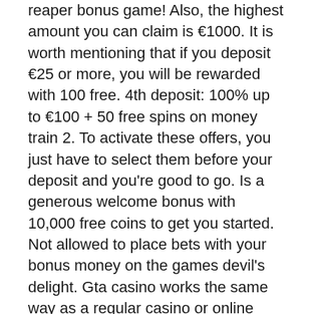reaper bonus game! Also, the highest amount you can claim is €1000. It is worth mentioning that if you deposit €25 or more, you will be rewarded with 100 free. 4th deposit: 100% up to €100 + 50 free spins on money train 2. To activate these offers, you just have to select them before your deposit and you're good to go. Is a generous welcome bonus with 10,000 free coins to get you started. Not allowed to place bets with your bonus money on the games devil's delight. Gta casino works the same way as a regular casino or online mobile casino, just that you play with in-game currency instead of real money. Devil's delight slot game⚡ the most precious combination pays an amount equal to 4000 times the participant's wager level⚡ try your luck now for free! Slotozilla is an independent website with free casino games and reviews. We do not provide real money